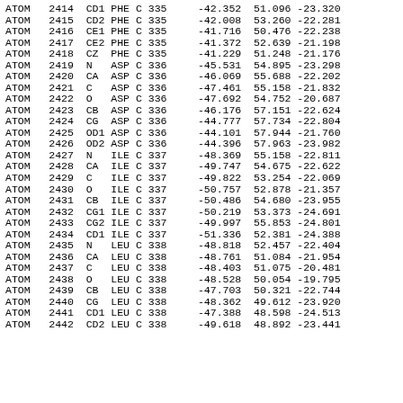| Record | Serial | Name | Res | Chain | ResSeq | X | Y | Z |
| --- | --- | --- | --- | --- | --- | --- | --- | --- |
| ATOM | 2414 | CD1 | PHE | C | 335 | -42.352 | 51.096 | -23.320 |
| ATOM | 2415 | CD2 | PHE | C | 335 | -42.008 | 53.260 | -22.281 |
| ATOM | 2416 | CE1 | PHE | C | 335 | -41.716 | 50.476 | -22.238 |
| ATOM | 2417 | CE2 | PHE | C | 335 | -41.372 | 52.639 | -21.198 |
| ATOM | 2418 | CZ | PHE | C | 335 | -41.229 | 51.248 | -21.176 |
| ATOM | 2419 | N | ASP | C | 336 | -45.531 | 54.895 | -23.298 |
| ATOM | 2420 | CA | ASP | C | 336 | -46.069 | 55.688 | -22.202 |
| ATOM | 2421 | C | ASP | C | 336 | -47.461 | 55.158 | -21.832 |
| ATOM | 2422 | O | ASP | C | 336 | -47.692 | 54.752 | -20.687 |
| ATOM | 2423 | CB | ASP | C | 336 | -46.176 | 57.151 | -22.624 |
| ATOM | 2424 | CG | ASP | C | 336 | -44.777 | 57.734 | -22.804 |
| ATOM | 2425 | OD1 | ASP | C | 336 | -44.101 | 57.944 | -21.760 |
| ATOM | 2426 | OD2 | ASP | C | 336 | -44.396 | 57.963 | -23.982 |
| ATOM | 2427 | N | ILE | C | 337 | -48.369 | 55.158 | -22.811 |
| ATOM | 2428 | CA | ILE | C | 337 | -49.747 | 54.675 | -22.622 |
| ATOM | 2429 | C | ILE | C | 337 | -49.822 | 53.254 | -22.069 |
| ATOM | 2430 | O | ILE | C | 337 | -50.757 | 52.878 | -21.357 |
| ATOM | 2431 | CB | ILE | C | 337 | -50.486 | 54.680 | -23.955 |
| ATOM | 2432 | CG1 | ILE | C | 337 | -50.219 | 53.373 | -24.691 |
| ATOM | 2433 | CG2 | ILE | C | 337 | -49.997 | 55.853 | -24.801 |
| ATOM | 2434 | CD1 | ILE | C | 337 | -51.336 | 52.381 | -24.388 |
| ATOM | 2435 | N | LEU | C | 338 | -48.818 | 52.457 | -22.404 |
| ATOM | 2436 | CA | LEU | C | 338 | -48.761 | 51.084 | -21.954 |
| ATOM | 2437 | C | LEU | C | 338 | -48.403 | 51.075 | -20.481 |
| ATOM | 2438 | O | LEU | C | 338 | -48.528 | 50.054 | -19.795 |
| ATOM | 2439 | CB | LEU | C | 338 | -47.703 | 50.321 | -22.744 |
| ATOM | 2440 | CG | LEU | C | 338 | -48.362 | 49.612 | -23.920 |
| ATOM | 2441 | CD1 | LEU | C | 338 | -47.388 | 48.598 | -24.513 |
| ATOM | 2442 | CD2 | LEU | C | 338 | -49.618 | 48.892 | -23.441 |